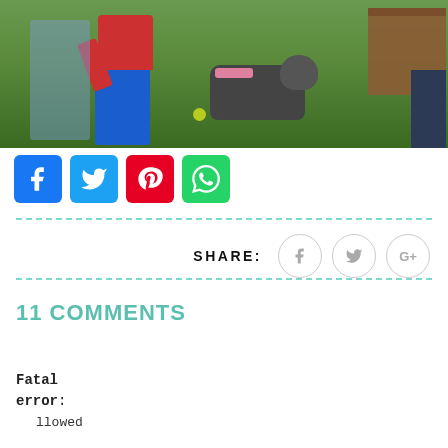[Figure (photo): Cropped photo showing people kneeling on grass with a dog wearing a pink collar, a wooden table on the right, and a yellow ball on the ground]
[Figure (infographic): Four social share buttons: Facebook (blue), Twitter (blue), Pinterest (red), WhatsApp (green)]
[Figure (infographic): Share bar with SHARE: label and three circular icon buttons for Facebook, Twitter, and Google+]
11 COMMENTS
Fatal error: llowed